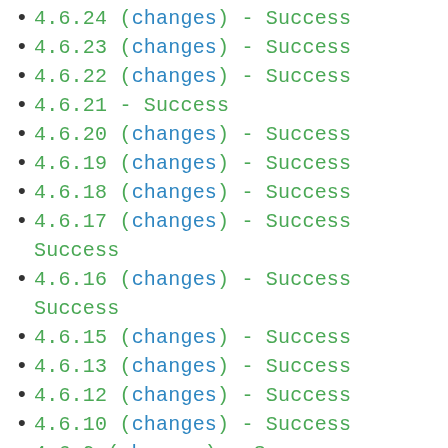4.6.24 (changes) - Success
4.6.23 (changes) - Success
4.6.22 (changes) - Success
4.6.21 - Success
4.6.20 (changes) - Success
4.6.19 (changes) - Success
4.6.18 (changes) - Success
4.6.17 (changes) - Success Success
4.6.16 (changes) - Success Success
4.6.15 (changes) - Success
4.6.13 (changes) - Success
4.6.12 (changes) - Success
4.6.10 (changes) - Success
4.6.9 (changes) - Success
4.6.8 (changes) - Success
4.6.7 (changes) - Success
4.6.6 (changes) - Success
4.6.5 (changes) - Success
4.6.4 (changes) - Success